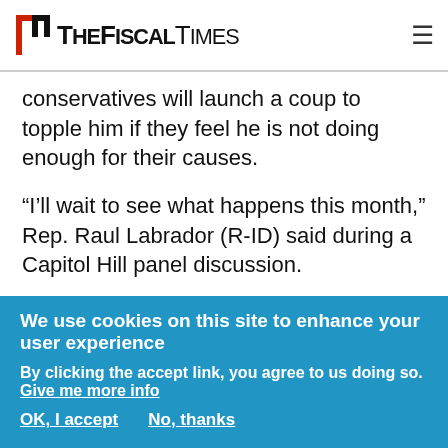The Fiscal Times
conservatives will launch a coup to topple him if they feel he is not doing enough for their causes.
“I’ll wait to see what happens this month,” Rep. Raul Labrador (R-ID) said during a Capitol Hill panel discussion.
He and several other members of the conservative House Freedom Caucus sent a letter to Boehner on Tuesday stating they would not support any funding resolution that contained money for Planned
We use cookies on this site to enhance your user experience
By clicking the accept link, you agree to us doing so. Give me more info
OK, I accept    No, thanks